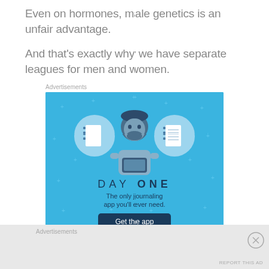Even on hormones, male genetics is an unfair advantage.
And that's exactly why we have separate leagues for men and women.
Advertisements
[Figure (illustration): Day One journaling app advertisement. Blue background with illustration of a person holding a phone, flanked by two circular icons showing a blank notebook and a lined notebook. Text reads 'DAY ONE' and 'The only journaling app you'll ever need.' with a dark button 'Get the app'.]
Advertisements